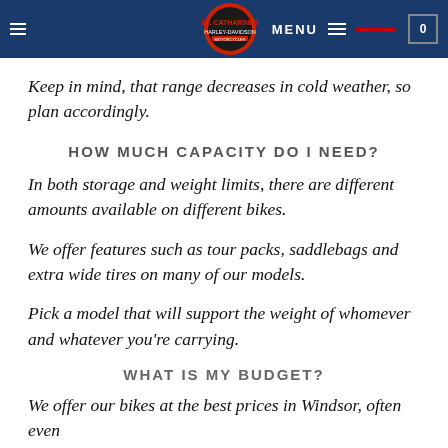MENU [navigation bar with logo]
Keep in mind, that range decreases in cold weather, so plan accordingly.
HOW MUCH CAPACITY DO I NEED?
In both storage and weight limits, there are different amounts available on different bikes.
We offer features such as tour packs, saddlebags and extra wide tires on many of our models.
Pick a model that will support the weight of whomever and whatever you're carrying.
WHAT IS MY BUDGET?
We offer our bikes at the best prices in Windsor, often even